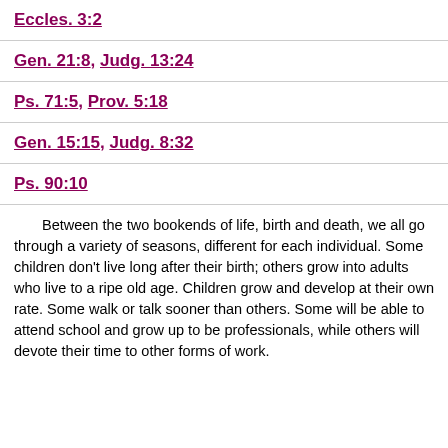Eccles. 3:2
Gen. 21:8, Judg. 13:24
Ps. 71:5, Prov. 5:18
Gen. 15:15, Judg. 8:32
Ps. 90:10
Between the two bookends of life, birth and death, we all go through a variety of seasons, different for each individual. Some children don't live long after their birth; others grow into adults who live to a ripe old age. Children grow and develop at their own rate. Some walk or talk sooner than others. Some will be able to attend school and grow up to be professionals, while others will devote their time to other forms of work. Some will live to an old age and some won't.